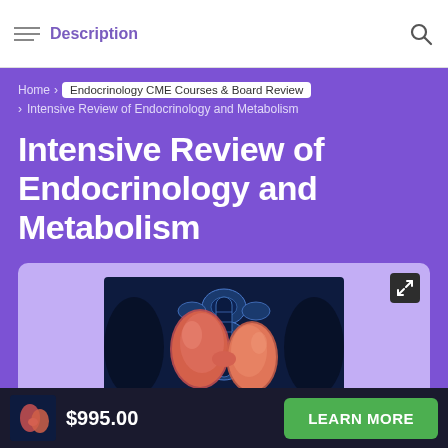Description
Home > Endocrinology CME Courses & Board Review > Intensive Review of Endocrinology and Metabolism
Intensive Review of Endocrinology and Metabolism
[Figure (photo): Medical illustration of thyroid gland anatomy highlighted in pink/red against a dark blue background]
$995.00
LEARN MORE